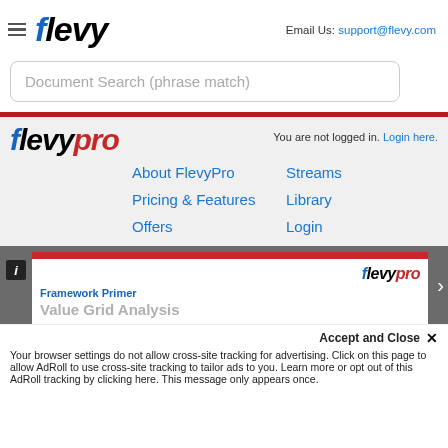[Figure (logo): Flevy logo with hamburger menu icon and italic bold text]
Email Us: support@flevy.com
Document Search (phrase match)
[Figure (logo): FlevyPro logo in blue, black, and red italic text]
You are not logged in. Login here.
About FlevyPro
Streams
Pricing & Features
Library
Offers
Login
[Figure (screenshot): Document preview card with FlevyPro branding, Framework Primer label, and Value Grid Analysis title]
Accept and Close ✕
Your browser settings do not allow cross-site tracking for advertising. Click on this page to allow AdRoll to use cross-site tracking to tailor ads to you. Learn more or opt out of this AdRoll tracking by clicking here. This message only appears once.